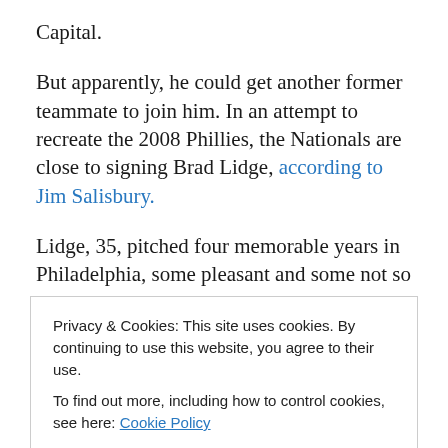Capital.
But apparently, he could get another former teammate to join him. In an attempt to recreate the 2008 Phillies, the Nationals are close to signing Brad Lidge, according to Jim Salisbury.
Lidge, 35, pitched four memorable years in Philadelphia, some pleasant and some not so much.
He was acquired in a trade that sent Michael Bourn to Houston, Lidge made an immediate impact on the Phillies.
Privacy & Cookies: This site uses cookies. By continuing to use this website, you agree to their use.
To find out more, including how to control cookies, see here: Cookie Policy
Close and accept
remaining three years, killing the velocity on his fastball